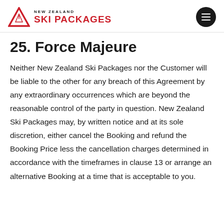NEW ZEALAND SKI PACKAGES
25. Force Majeure
Neither New Zealand Ski Packages nor the Customer will be liable to the other for any breach of this Agreement by any extraordinary occurrences which are beyond the reasonable control of the party in question. New Zealand Ski Packages may, by written notice and at its sole discretion, either cancel the Booking and refund the Booking Price less the cancellation charges determined in accordance with the timeframes in clause 13 or arrange an alternative Booking at a time that is acceptable to you.